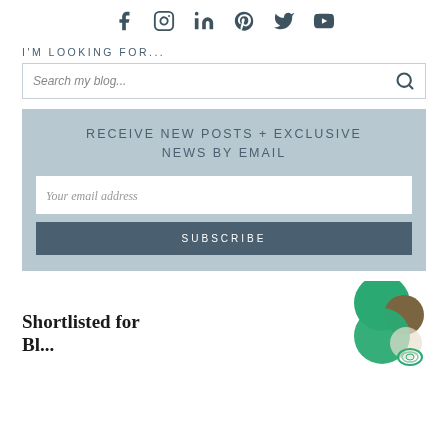[Figure (infographic): Social media icons row: Facebook, Instagram, LinkedIn, Pinterest, Twitter, YouTube]
I'M LOOKING FOR...
[Figure (other): Search bar with placeholder text 'Search my blog...' and a search icon]
RECEIVE NEW POSTS + EXCLUSIVE NEWS BY EMAIL
[Figure (other): Email subscription box with email input field and SUBSCRIBE button]
Shortlisted for Bl...
[Figure (illustration): Partial badge/award image with green and brown circular shapes and decorative pattern]